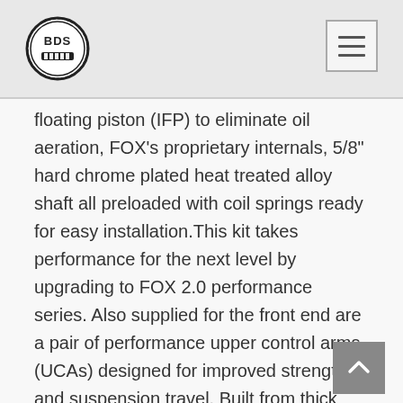BDS
floating piston (IFP) to eliminate oil aeration, FOX's proprietary internals, 5/8" hard chrome plated heat treated alloy shaft all preloaded with coil springs ready for easy installation.This kit takes performance for the next level by upgrading to FOX 2.0 performance series. Also supplied for the front end are a pair of performance upper control arms (UCAs) designed for improved strength and suspension travel. Built from thick wall 1.5" DOM tubing, these UCAs utilize an indexed ball joint cup to reposition the upper ball joints and allowing more droop travel. These arms come fully assembled right